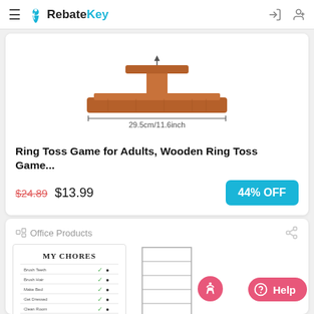RebateKey
[Figure (photo): Wooden ring toss game stand, top view with measurement 29.5cm/11.6inch shown]
Ring Toss Game for Adults, Wooden Ring Toss Game...
$24.89 $13.99  44% OFF
Office Products
[Figure (photo): My Chores checklist product image and a shelf/rack product image]